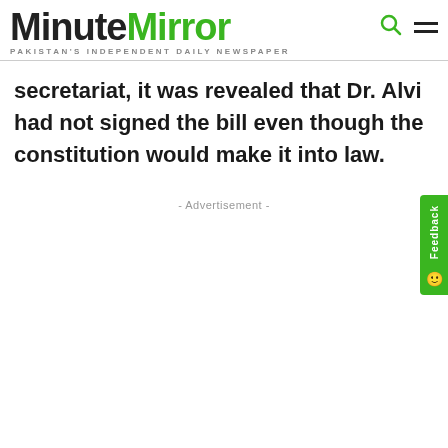MinuteMirror – PAKISTAN'S INDEPENDENT DAILY NEWSPAPER
secretariat, it was revealed that Dr. Alvi had not signed the bill even though the constitution would make it into law.
- Advertisement -